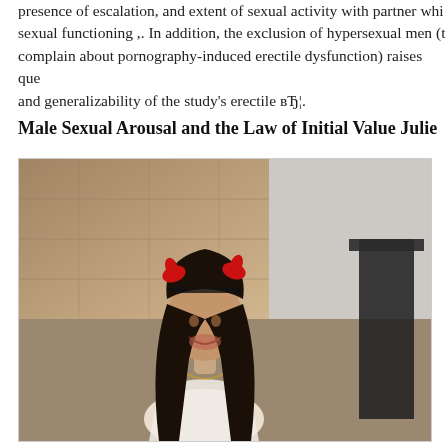presence of escalation, and extent of sexual activity with partner whi... sexual functioning ,. In addition, the exclusion of hypersexual men (t... complain about pornography-induced erectile dysfunction) raises que... and generalizability of the study's erectile вЂ¦.
Male Sexual Arousal and the Law of Initial Value Julie
[Figure (photo): A photograph of a young woman with long dark hair wearing red devil horns headband, looking upward and smiling, seated in an indoor setting with stone walls and a dark chair visible in the background.]